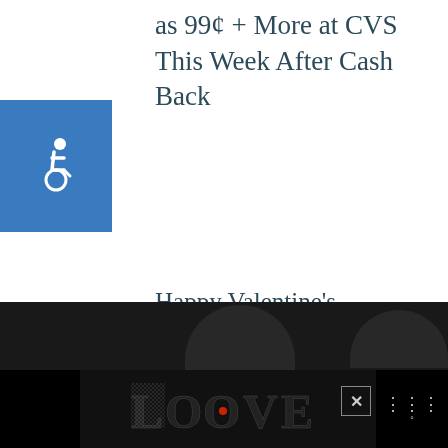as 99¢ + More at CVS This Week After Cash Back
[Figure (illustration): Blue square with white wheelchair accessibility icon]
Happy Valentine’s Day From ibotta – New Offers Now at Dollar General & Family Dollar!
[Figure (infographic): Teal heart/like button with count of 1, and a share button below]
[Figure (infographic): What's Next widget showing a thumbnail image and text: Easy Messy Bun for Lon...]
[Figure (photo): Dark partial image of objects at bottom of page]
[Figure (infographic): Black advertisement bar with decorative LOOVE text logo and an X close button]